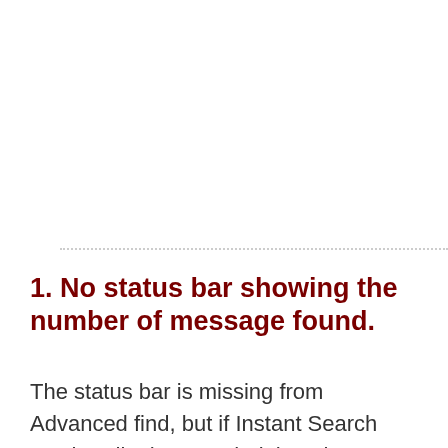1. No status bar showing the number of message found.
The status bar is missing from Advanced find, but if Instant Search can handle the search, it has the count